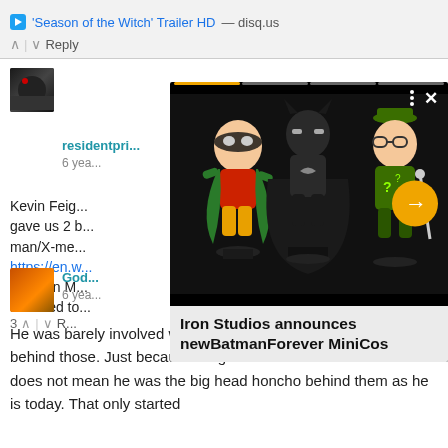'Season of the Witch' Trailer HD — disq.us
^ | v Reply
residentprime • 1 ...
6 years ago
Kevin Feig... gave us 2 b... man/X-me... https://en.w...
PS: Iron M... attached to...
3 ^ | v [Reply]
[Figure (photo): Popup showing Batman Forever MiniCos figurines (Robin, Batman, Riddler) on black background with navigation arrow and progress bar. Caption reads: Iron Studios announces newBatmanForever MiniCos]
God...
6 years ago
He was barely involved with these movies. Arad was the one behind those. Just because Feiges name was in the credits does not mean he was the big head honcho behind them as he is today. That only started